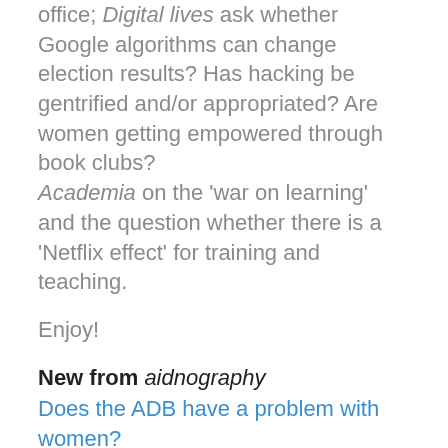office; Digital lives ask whether Google algorithms can change election results? Has hacking be gentrified and/or appropriated? Are women getting empowered through book clubs? Academia on the 'war on learning' and the question whether there is a 'Netflix effect' for training and teaching.
Enjoy!
New from aidnography
Does the ADB have a problem with women?
Any high-level development meeting that features contemporary buzzwords like 'innovative', 'inclusive' or 'resilient' in its description feels a bit strange when the participants comprise a very homogeneous